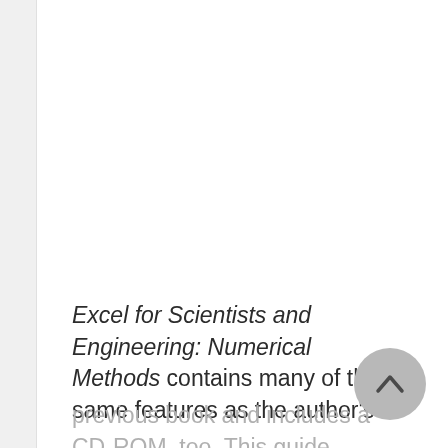Excel for Scientists and Engineering: Numerical Methods contains many of the same features as the author's previous book and includes a CD-ROM, too. This guide focuses on a